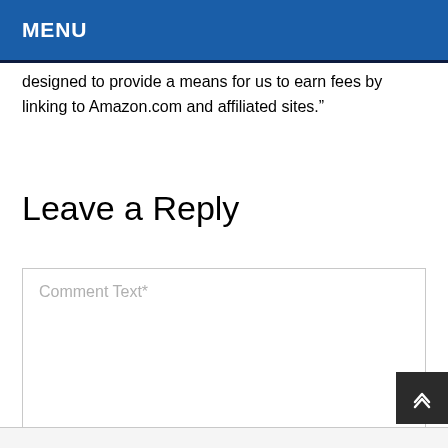MENU
designed to provide a means for us to earn fees by linking to Amazon.com and affiliated sites.”
Leave a Reply
Comment Text*